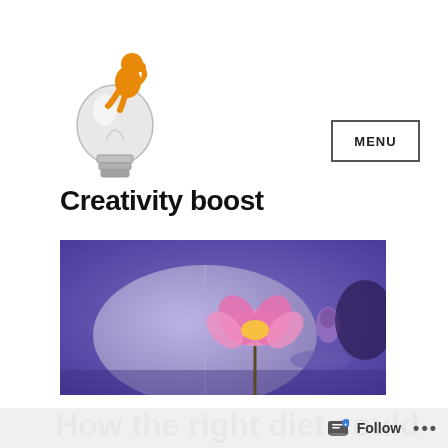[Figure (illustration): Orange 3D figurine sitting on top of a glass light bulb, logo for Creativity boost blog]
Creativity boost
[Figure (photo): Wide banner photo of a pink lotus flower floating on purple/blue water with a large lily pad]
How the right diet could
increase your creat...
Follow ...